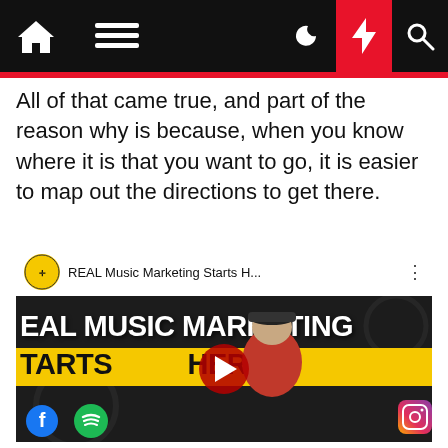Navigation bar with home, menu, moon, lightning, and search icons
All of that came true, and part of the reason why is because, when you know where it is that you want to go, it is easier to map out the directions to get there.
[Figure (screenshot): YouTube video thumbnail titled 'REAL Music Marketing Starts H...' with a man in a red shirt and black cap pointing, text reading 'REAL MUSIC MARKETING STARTS HERE' on black and yellow background, with social media icons (Facebook, Spotify, Instagram) at the bottom. Play button overlay visible.]